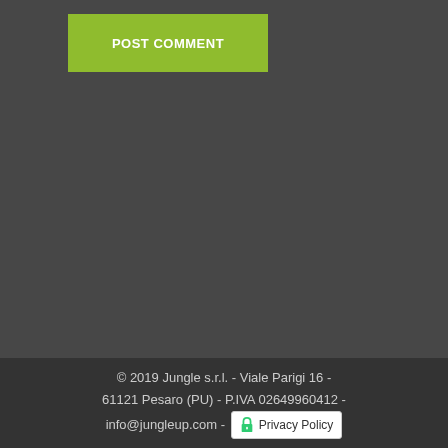[Figure (screenshot): Green 'POST COMMENT' button on dark grey background]
© 2019 Jungle s.r.l. - Viale Parigi 16 - 61121 Pesaro (PU) - P.IVA 02649960412 - info@jungleup.com - Privacy Policy